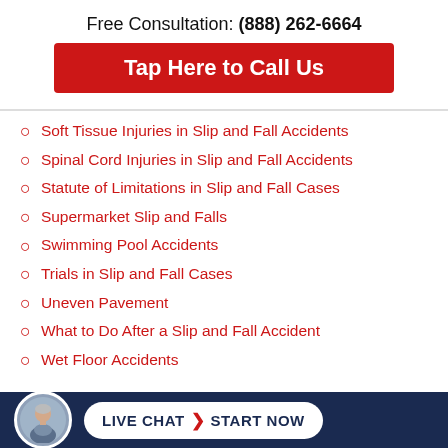Free Consultation: (888) 262-6664
Tap Here to Call Us
Soft Tissue Injuries in Slip and Fall Accidents
Spinal Cord Injuries in Slip and Fall Accidents
Statute of Limitations in Slip and Fall Cases
Supermarket Slip and Falls
Swimming Pool Accidents
Trials in Slip and Fall Cases
Uneven Pavement
What to Do After a Slip and Fall Accident
Wet Floor Accidents
LIVE CHAT  START NOW